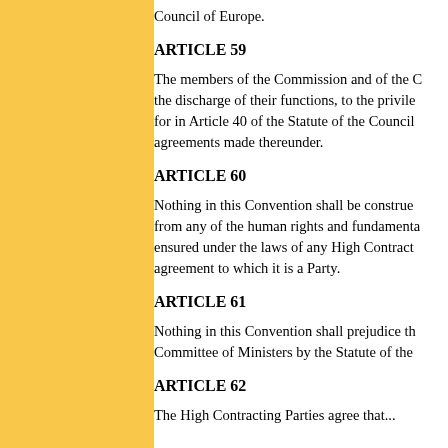Council of Europe.
ARTICLE 59
The members of the Commission and of the Court shall be entitled, during the discharge of their functions, to the privileges and immunities provided for in Article 40 of the Statute of the Council of Europe and in the agreements made thereunder.
ARTICLE 60
Nothing in this Convention shall be construed as limiting or derogating from any of the human rights and fundamental freedoms which may be ensured under the laws of any High Contracting Party or under any other agreement to which it is a Party.
ARTICLE 61
Nothing in this Convention shall prejudice the powers conferred on the Committee of Ministers by the Statute of the Council of Europe.
ARTICLE 62
The High Contracting Parties agree that...